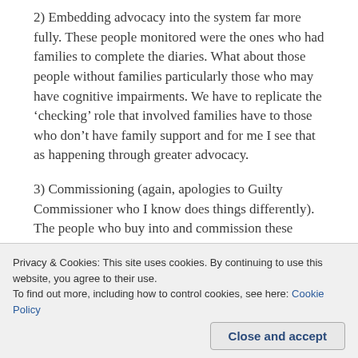2) Embedding advocacy into the system far more fully. These people monitored were the ones who had families to complete the diaries. What about those people without families particularly those who may have cognitive impairments. We have to replicate the 'checking' role that involved families have to those who don't have family support and for me I see that as happening through greater advocacy.
3) Commissioning (again, apologies to Guilty Commissioner who I know does things differently). The people who buy into and commission these block contracts aren't the people who use them. They award on the basis of cost where quality has to have a greater impact on quality of life and quality of care provision.
far down the political agenda. Politicians of worth need
Privacy & Cookies: This site uses cookies. By continuing to use this website, you agree to their use.
To find out more, including how to control cookies, see here: Cookie Policy